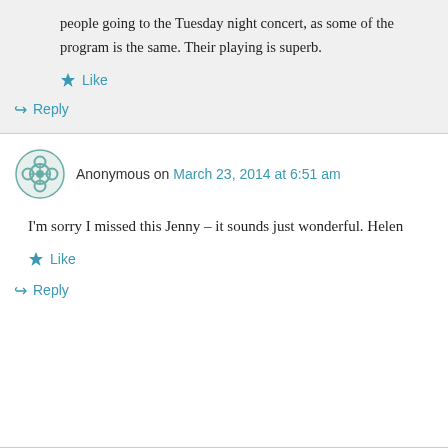people going to the Tuesday night concert, as some of the program is the same. Their playing is superb.
★ Like
↳ Reply
Anonymous on March 23, 2014 at 6:51 am
I'm sorry I missed this Jenny – it sounds just wonderful. Helen
★ Like
↳ Reply